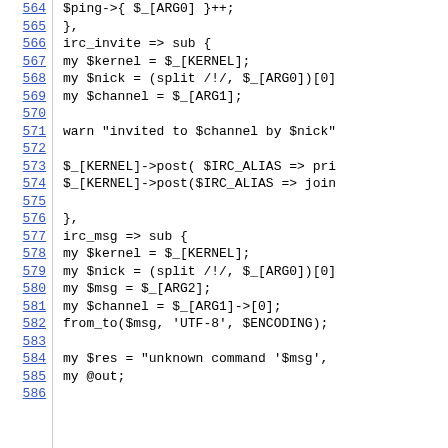[Figure (screenshot): Source code viewer showing Perl code lines 564-586 with line numbers on the left as blue underlined links and code on the right in monospace font.]